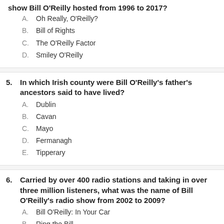show Bill O'Reilly hosted from 1996 to 2017?
A. Oh Really, O'Reilly?
B. Bill of Rights
C. The O'Reilly Factor
D. Smiley O'Reilly
5. In which Irish county were Bill O'Reilly's father's ancestors said to have lived?
A. Dublin
B. Cavan
C. Mayo
D. Fermanagh
E. Tipperary
6. Carried by over 400 radio stations and taking in over three million listeners, what was the name of Bill O'Reilly's radio show from 2002 to 2009?
A. Bill O'Reilly: In Your Car
B. Ring the Bill